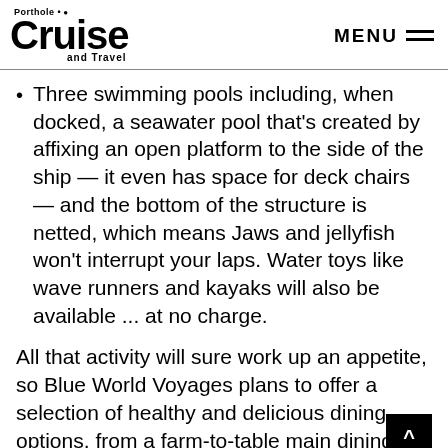Porthole Cruise and Travel — MENU
Three swimming pools including, when docked, a seawater pool that's created by affixing an open platform to the side of the ship — it even has space for deck chairs — and the bottom of the structure is netted, which means Jaws and jellyfish won't interrupt your laps. Water toys like wave runners and kayaks will also be available ... at no charge.
All that activity will sure work up an appetite, so Blue World Voyages plans to offer a selection of healthy and delicious dining options, from a farm-to-table main dining